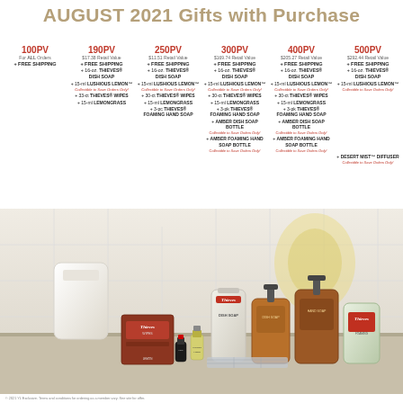AUGUST 2021 Gifts with Purchase
| 100PV | 190PV | 250PV | 300PV | 400PV | 500PV |
| --- | --- | --- | --- | --- | --- |
| For ALL Orders | $17.38 Retail Value | $11.51 Retail Value | $169.74 Retail Value | $205.27 Retail Value | $292.44 Retail Value |
| + FREE SHIPPING | + FREE SHIPPING | + FREE SHIPPING | + FREE SHIPPING | + FREE SHIPPING | + FREE SHIPPING |
|  | + 16-oz. THIEVES® DISH SOAP | + 16-oz. THIEVES® DISH SOAP | + 16-oz. THIEVES® DISH SOAP | + 16-oz. THIEVES® DISH SOAP | + 16-oz. THIEVES® DISH SOAP |
|  | + 15-ml LUSHIOUS LEMON™ (Collectible to Save Orders Only!) | + 15-ml LUSHIOUS LEMON™ (Collectible to Save Orders Only!) | + 15-ml LUSHIOUS LEMON™ (Collectible to Save Orders Only!) | + 15-ml LUSHIOUS LEMON™ (Collectible to Save Orders Only!) | + 15-ml LUSHIOUS LEMON™ (Collectible to Save Orders Only!) |
|  | + 33-ct THIEVES® WIPES | + 30-ct THIEVES® WIPES | + 30-ct THIEVES® WIPES | + 30-ct THIEVES® WIPES |  |
|  | + 15-ml LEMONGRASS | + 15-ml LEMONGRASS | + 15-ml LEMONGRASS | + 15-ml LEMONGRASS |  |
|  |  | + 3-pc THIEVES® FOAMING HAND SOAP | + 3-pk THIEVES® FOAMING HAND SOAP | + 3-pk THIEVES® FOAMING HAND SOAP |  |
|  |  |  | + AMBER DISH SOAP BOTTLE (Collectible to Save Orders Only!) | + AMBER DISH SOAP BOTTLE (Collectible to Save Orders Only!) |  |
|  |  |  | + AMBER FOAMING HAND SOAP BOTTLE (Collectible to Save Orders Only!) | + AMBER FOAMING HAND SOAP BOTTLE (Collectible to Save Orders Only!) |  |
|  |  |  |  |  | + DESERT MIST™ DIFFUSER (Collectible to Save Orders Only!) |
[Figure (photo): Product flat lay photo showing Young Living Thieves branded products: Thieves wipes box, Lushious Lemon essential oil, Lushious Lemon bottle, Thieves dish soap, Thieves dish soap pump bottle, Thieves hand soap pump bottle, Thieves foaming hand soap, arranged on a white surface with yellow flowers in the background]
© 2021 YL Exclusive. Terms and conditions for ordering as a member vary. See site for offer.